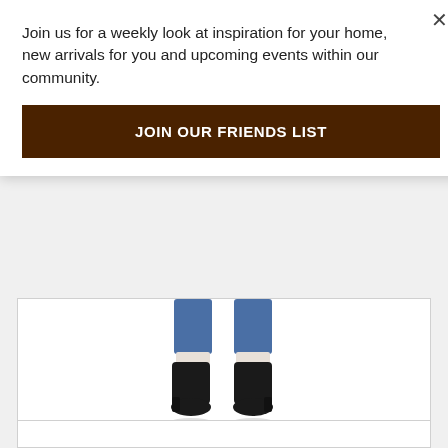Join us for a weekly look at inspiration for your home, new arrivals for you and upcoming events within our community.
JOIN OUR FRIENDS LIST
[Figure (photo): Close-up photo of legs wearing blue jeans and black suede ankle boots/booties on a white background]
Skull Cashmere / 360
★★★★★ (empty stars rating)
Deenah Wrap
$403.00